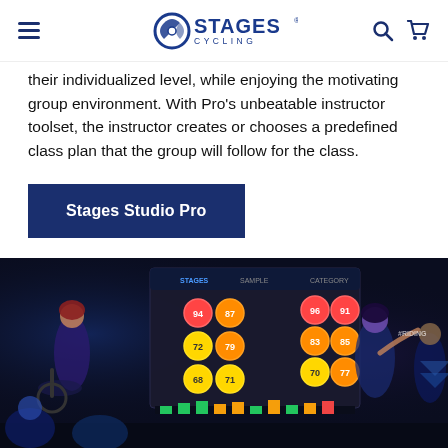Stages Cycling — navigation header
their individualized level, while enjoying the motivating group environment. With Pro's unbeatable instructor toolset, the instructor creates or chooses a predefined class plan that the group will follow for the class.
Stages Studio Pro
[Figure (photo): Indoor cycling studio class photo showing riders on bikes, an instructor, and a large display screen showing the Stages Studio software with colored performance circles and bar charts. Blue ambient lighting, dark environment.]